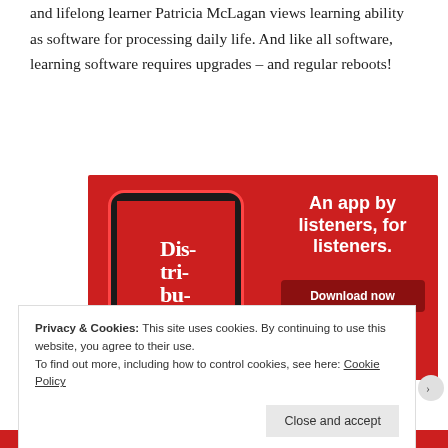and lifelong learner Patricia McLagan views learning ability as software for processing daily life. And like all software, learning software requires upgrades – and regular reboots!
[Figure (screenshot): Advertisement banner with red background showing a smartphone displaying a podcast app screen with 'Dis-tri-bu-ted' text. Right side reads 'An app by listeners, for listeners.' with a 'Download now' dark red button.]
Privacy & Cookies: This site uses cookies. By continuing to use this website, you agree to their use.
To find out more, including how to control cookies, see here: Cookie Policy
Close and accept